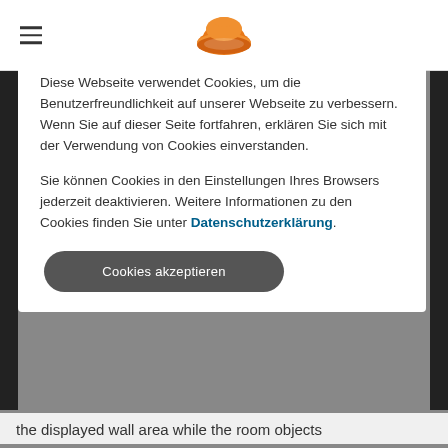[Figure (logo): Orange-colored stylized icon logo resembling a rounded hat or dome shape, used as website header logo]
Diese Webseite verwendet Cookies, um die Benutzerfreundlichkeit auf unserer Webseite zu verbessern. Wenn Sie auf dieser Seite fortfahren, erklären Sie sich mit der Verwendung von Cookies einverstanden.
Sie können Cookies in den Einstellungen Ihres Browsers jederzeit deaktivieren. Weitere Informationen zu den Cookies finden Sie unter Datenschutzerklärung.
Cookies akzeptieren
the displayed wall area while the room objects